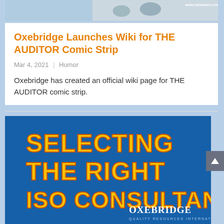[Figure (illustration): Top strip showing a comic strip scene with characters, light blue background on left, comic illustration on right with URL text WWW.OXEBRIDGE.COM/THE-AUDITOR]
Oxebridge Launches Wiki for THE AUDITOR Comic Strip
Mar 4, 2021 | Humor
Oxebridge has created an official wiki page for THE AUDITOR comic strip.
[Figure (illustration): Blue banner advertisement for Oxebridge with bold yellow text reading SELECTING THE RIGHT ISO CONSULTANT! and Oxebridge Quality Resources International logo at bottom right]